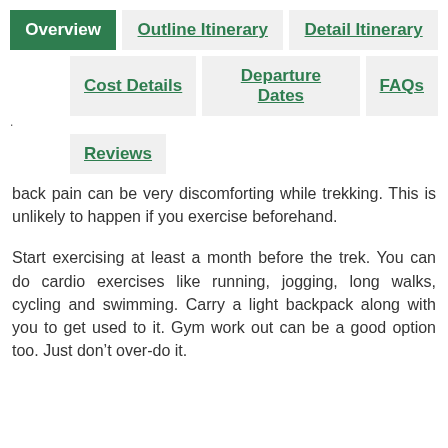Overview
Outline Itinerary
Detail Itinerary
Cost Details
Departure Dates
FAQs
Reviews
back pain can be very discomforting while trekking. This is unlikely to happen if you exercise beforehand.
Start exercising at least a month before the trek. You can do cardio exercises like running, jogging, long walks, cycling and swimming. Carry a light backpack along with you to get used to it. Gym work out can be a good option too. Just don’t over-do it.